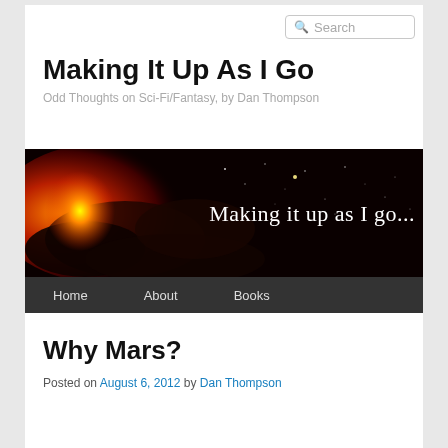Search
Making It Up As I Go
Odd Thoughts on Sci-Fi/Fantasy, by Dan Thompson
[Figure (illustration): Blog header banner showing a dark space/nebula scene with fiery red-orange cloud formations on the left and stars on a black background, with the text 'Making it up as I go...' in white serif font on the right.]
Home   About   Books
Why Mars?
Posted on August 6, 2012 by Dan Thompson